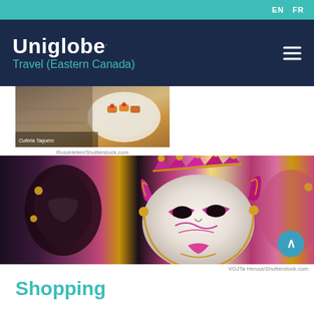EN  FR
Uniglobe.
Travel (Eastern Canada)
[Figure (photo): A plate of food, possibly tapas or appetizers, on a rustic table. Photographer credit overlay visible.]
RossHelen/Shutterstock.com
[Figure (photo): Colorful Venetian carnival masks displayed for sale, including a prominent pink, gold and black jester mask in the foreground.]
VOJTa Herout/Shutterstock.com
Shopping